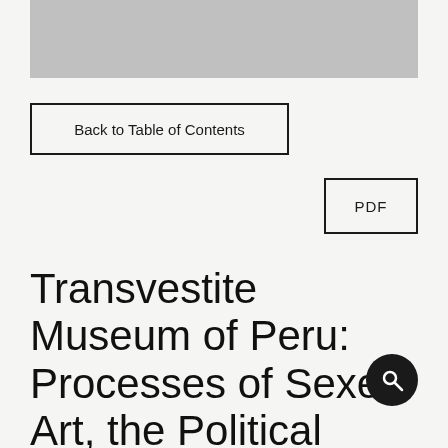[Figure (photo): Gray placeholder image at the top of the page]
Back to Table of Contents
PDF
Transvestite Museum of Peru: Processes of Sexed Art, the Political Body, and the Transvestite Nation